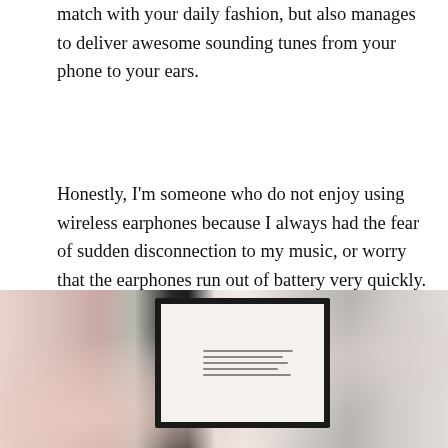match with your daily fashion, but also manages to deliver awesome sounding tunes from your phone to your ears.
Honestly, I'm someone who do not enjoy using wireless earphones because I always had the fear of sudden disconnection to my music, or worry that the earphones run out of battery very quickly.
Fortunately, the Sudio Niva was pretty decent when I tested it out.
[Figure (photo): Photo showing earphones product, a black box with white interior containing a card with text, placed on a light surface with pinkish accessories visible]